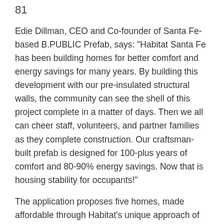81
Edie Dillman, CEO and Co-founder of Santa Fe-based B.PUBLIC Prefab, says: "Habitat Santa Fe has been building homes for better comfort and energy savings for many years. By building this development with our pre-insulated structural walls, the community can see the shell of this project complete in a matter of days. Then we all can cheer staff, volunteers, and partner families as they complete construction. Our craftsman-built prefab is designed for 100-plus years of comfort and 80-90% energy savings. Now that is housing stability for occupants!"
The application proposes five homes, made affordable through Habitat’s unique approach of using the future homeowner’s “sweat equity,” in addition to many volunteer laborers, donated materials, and self-financed 0% interest mortgages. Kurt Krahn, Executive Director of Santa Fe Habitat for Humanity, estimates that these homes will cost approximately $185,000 to construct, with monthly housing